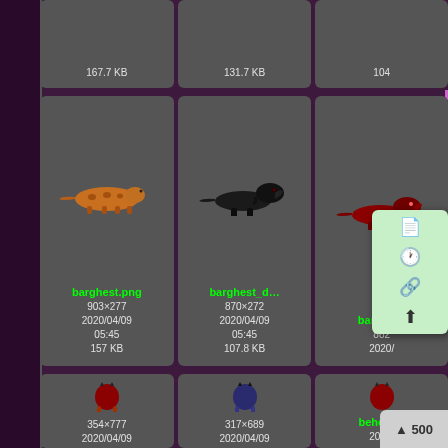[Figure (screenshot): File browser grid showing game sprite thumbnails. Top row (partial): three cards showing file sizes 167.7 KB, 131.7 KB, 104... Middle row: barghest.png (orange lizard sprite, 903x277, 2020/04/09 05:45, 157 KB), barghest_d... (black T-rex sprite, 870x272, 2020/04/09 05:45, 107.8 KB), barghest... (red T-rex, partially cropped). Bottom row: behemoth.... (red demon sprite, 354x777, 2020/04/09), behemoth_... (blue demon sprite, 317x689, 2020/04/09), behem... (partially cropped red demon). Context menu visible on right side with icons. Scroll button showing 500 at bottom right.]